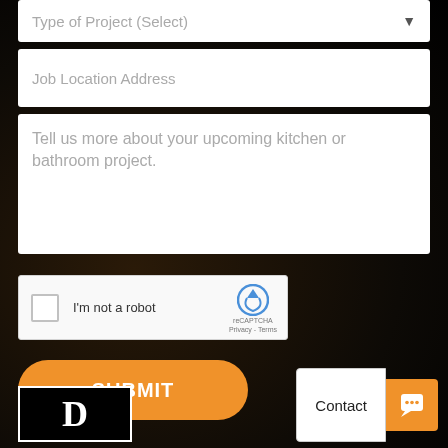[Figure (screenshot): Web form with dropdown 'Type of Project (Select)', text fields for 'Job Location Address' and a textarea with placeholder 'Tell us more about your upcoming kitchen or bathroom project.', a reCAPTCHA checkbox widget, an orange SUBMIT button, a Contact chat widget, and a logo box with letter D.]